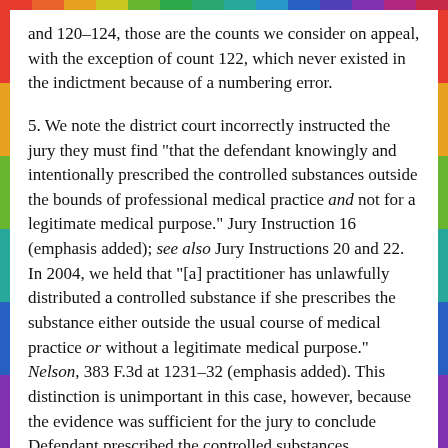and 120–124, those are the counts we consider on appeal, with the exception of count 122, which never existed in the indictment because of a numbering error.
5. We note the district court incorrectly instructed the jury they must find "that the defendant knowingly and intentionally prescribed the controlled substances outside the bounds of professional medical practice and not for a legitimate medical purpose." Jury Instruction 16 (emphasis added); see also Jury Instructions 20 and 22. In 2004, we held that "[a] practitioner has unlawfully distributed a controlled substance if she prescribes the substance either outside the usual course of medical practice or without a legitimate medical purpose." Nelson, 383 F.3d at 1231–32 (emphasis added). This distinction is unimportant in this case, however, because the evidence was sufficient for the jury to conclude Defendant prescribed the controlled substances